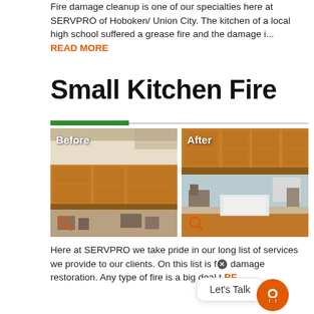Fire damage cleanup is one of our specialties here at SERVPRO of Hoboken/ Union City. The kitchen of a local high school suffered a grease fire and the damage i... READ MORE
Small Kitchen Fire
[Figure (photo): Before and after photo comparison of a kitchen after a small fire. Left image labeled 'Before' shows smoke-damaged kitchen cabinets. Right image labeled 'After' shows clean restored kitchen cabinets.]
Here at SERVPRO we take pride in our long list of services we provide to our clients. On this list is fire damage restoration. Any type of fire is a big deal t... RE